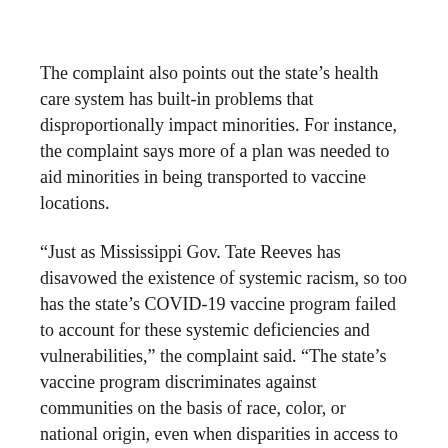The complaint also points out the state's health care system has built-in problems that disproportionally impact minorities. For instance, the complaint says more of a plan was needed to aid minorities in being transported to vaccine locations.
“Just as Mississippi Gov. Tate Reeves has disavowed the existence of systemic racism, so too has the state’s COVID-19 vaccine program failed to account for these systemic deficiencies and vulnerabilities,” the complaint said. “The state’s vaccine program discriminates against communities on the basis of race, color, or national origin, even when disparities in access to COVID-19 testing foreshadowed these problems.”